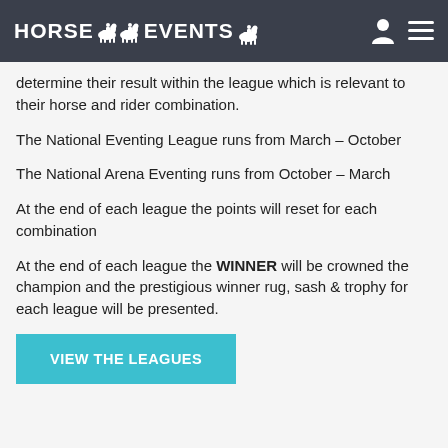HORSE EVENTS
determine their result within the league which is relevant to their horse and rider combination.
The National Eventing League runs from March – October
The National Arena Eventing runs from October – March
At the end of each league the points will reset for each combination
At the end of each league the WINNER will be crowned the champion and the prestigious winner rug, sash & trophy for each league will be presented.
VIEW THE LEAGUES